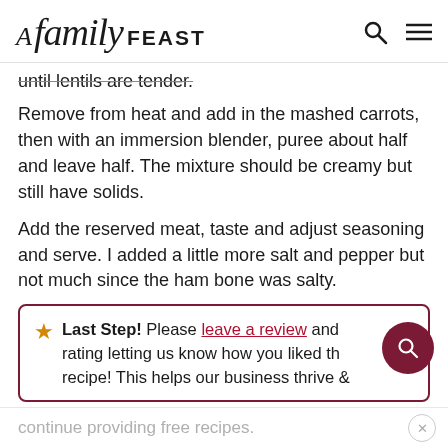A Family FEAST
until lentils are tender.
Remove from heat and add in the mashed carrots, then with an immersion blender, puree about half and leave half. The mixture should be creamy but still have solids.
Add the reserved meat, taste and adjust seasoning and serve. I added a little more salt and pepper but not much since the ham bone was salty.
Last Step! Please leave a review and rating letting us know how you liked the recipe! This helps our business thrive &
continue providing free recipes.